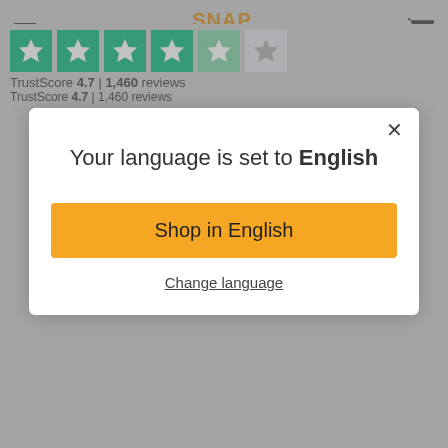SNAP SUPPLY
What are you looking for?
Your language is set to English
Shop in English
Change language
TrustScore 4.7 | 1,460 reviews